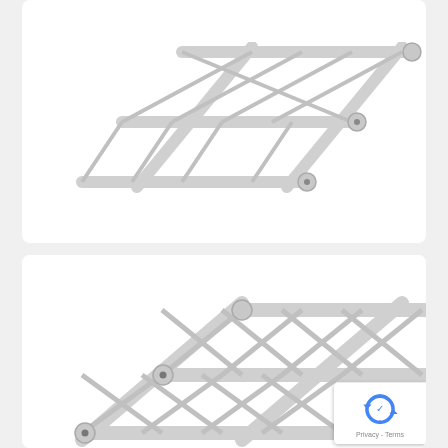[Figure (photo): Photo of Global Truss SQ-4115 square segment truss, showing silver aluminum truss structure from an angle, partially cropped at top]
Global Truss SQ-4115 - 11.48ft (3.5m) F34 Square Segment
$558.00
[Figure (photo): Photo of another Global Truss square segment truss, silver aluminum, viewed from similar angle, bottom card]
[Figure (other): reCAPTCHA badge with logo and Privacy - Terms text]